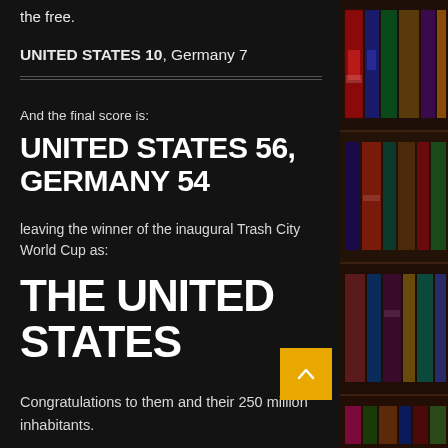the free.
UNITED STATES 10, Germany 7
And the final score is:
UNITED STATES 56, GERMANY 54
leaving the winner of the inaugural Trash City World Cup as:
THE UNITED STATES
Congratulations to them and their 250 million inhabitants.
And I can assure you, it will certainly be another four